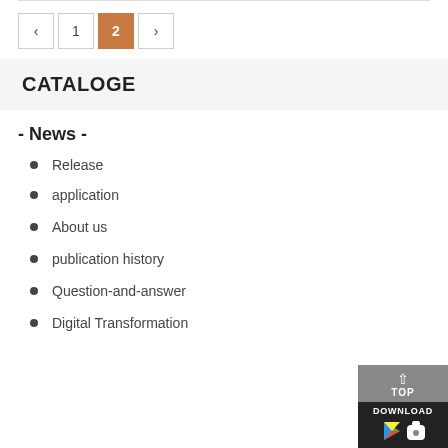[Figure (other): Pagination control showing buttons: left arrow, 1, 2 (active/selected in orange), right arrow]
CATALOGE
- News -
Release
application
About us
publication history
Question-and-answer
Digital Transformation
[Figure (other): TOP button widget and DOWNLOAD app store icons (Google Play and Apple App Store)]